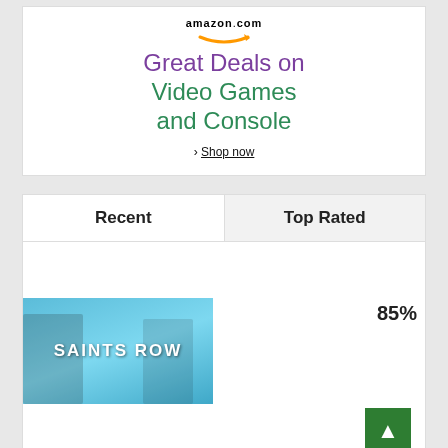[Figure (screenshot): Amazon.com advertisement banner for Great Deals on Video Games and Console with Shop now link]
[Figure (screenshot): Game review website section with Recent and Top Rated tabs, showing Saints Row game card with 85% score]